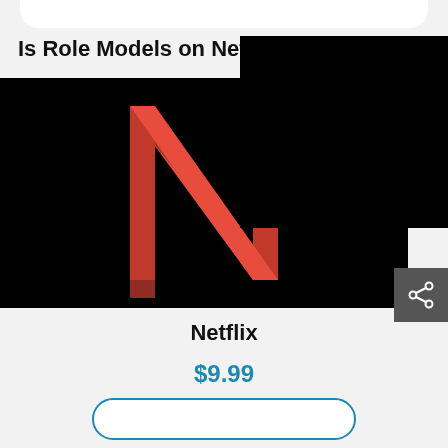Is Role Models on Netflix
[Figure (logo): Netflix logo — red stylized N on black background]
Netflix
$9.99